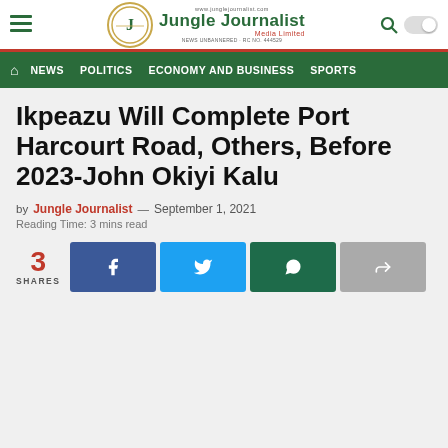Jungle Journalist Media Limited — www.junglejournalist.com
NEWS  POLITICS  ECONOMY AND BUSINESS  SPORTS
Ikpeazu Will Complete Port Harcourt Road, Others, Before 2023-John Okiyi Kalu
by Jungle Journalist — September 1, 2021
Reading Time: 3 mins read
3 SHARES